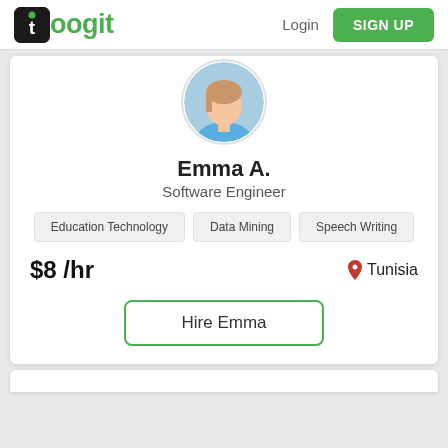[Figure (logo): Toogit logo — black rounded square icon with letter t and green dot, followed by green text 'oogit']
Login
SIGN UP
[Figure (photo): Circular profile photo of Emma A., a young woman with light hair wearing a blue top]
Emma A.
Software Engineer
Education Technology
Data Mining
Speech Writing
$8 /hr
Tunisia
Hire Emma